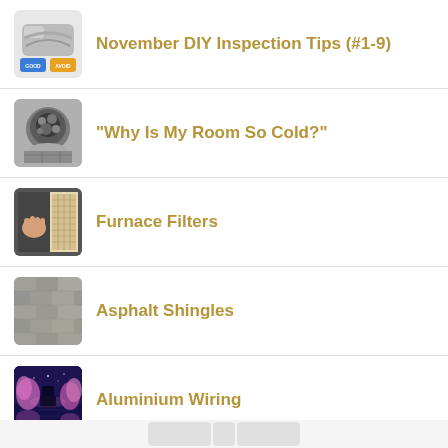November DIY Inspection Tips (#1-9)
"Why Is My Room So Cold?"
Furnace Filters
Asphalt Shingles
Aluminium Wiring